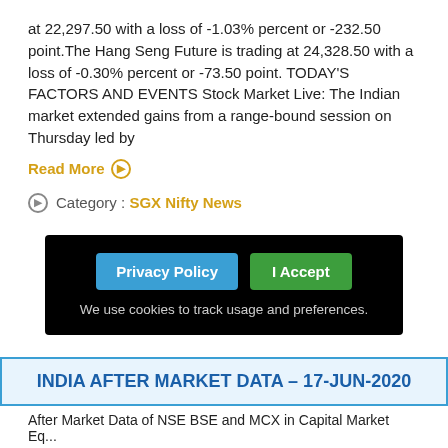at 22,297.50 with a loss of -1.03% percent or -232.50 point.The Hang Seng Future is trading at 24,328.50 with a loss of -0.30% percent or -73.50 point. TODAY'S FACTORS AND EVENTS Stock Market Live: The Indian market extended gains from a range-bound session on Thursday led by
Read More ⊙
⊙  Category : SGX Nifty News
[Figure (other): Cookie consent banner with Privacy Policy and I Accept buttons on black background. Text: We use cookies to track usage and preferences.]
INDIA AFTER MARKET DATA – 17-JUN-2020
After Market Data of NSE BSE and MCX in Capital Market Eq...